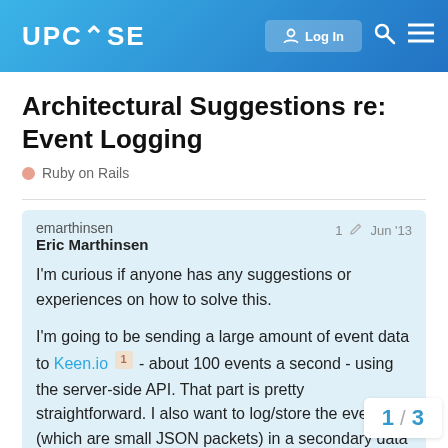UPCASE  Log In
Architectural Suggestions re: Event Logging
Ruby on Rails
emarthinsen  Eric Marthinsen  1  Jun '13
I'm curious if anyone has any suggestions or experiences on how to solve this.

I'm going to be sending a large amount of event data to Keen.io 1 - about 100 events a second - using the server-side API. That part is pretty straightforward. I also want to log/store the events (which are small JSON packets) in a secondary data store so I can audit the data that was sent and make sure it is accurate. Reliability of the secondary data...

The site is running on Heroku, so I don't ha...
1 / 3